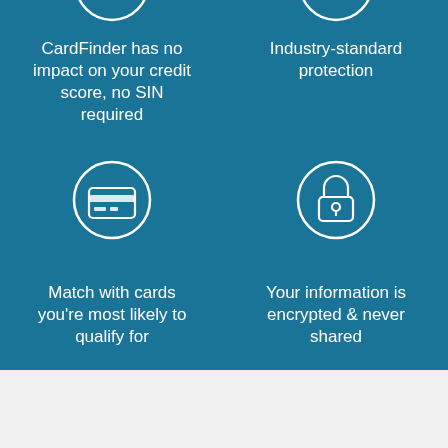CardFinder has no impact on your credit score, no SIN required
Industry-standard protection
[Figure (infographic): Credit card icon inside a circle]
[Figure (infographic): Padlock icon inside a circle]
Match with cards you're most likely to qualify for
Your information is encrypted & never shared